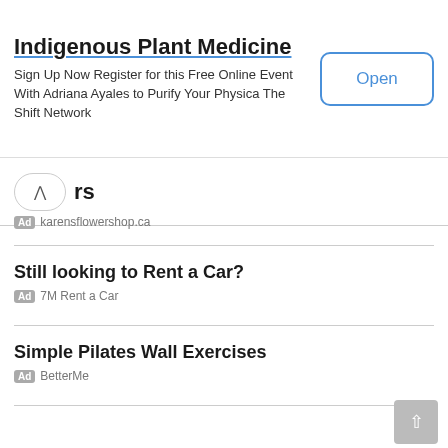[Figure (screenshot): Ad banner for Indigenous Plant Medicine with Open button]
Indigenous Plant Medicine
Sign Up Now Register for this Free Online Event With Adriana Ayales to Purify Your Physica The Shift Network
Open
rs
Ad karensflowershop.ca
Still looking to Rent a Car?
Ad 7M Rent a Car
Simple Pilates Wall Exercises
Ad BetterMe
Sonus Acoustics
Ad Sonus Acoustics
Win A Lightning Fast Maserati
Ad Omaze